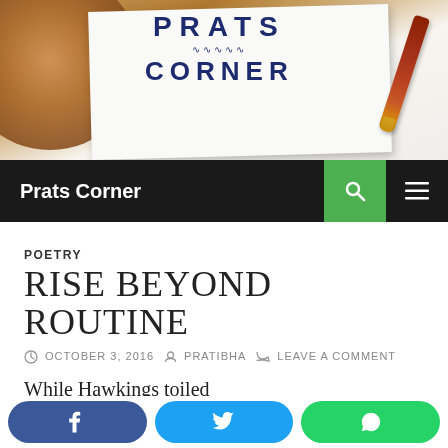[Figure (photo): Blog header image showing 'Prats Corner' handwritten text on white paper with a wooden surface and pen in the background]
Prats Corner
POETRY
RISE BEYOND ROUTINE
OCTOBER 3, 2016  PRATIBHA  LEAVE A COMMENT
While Hawkings toiled
on his ideas about time,
going back and forth
on is own thesis,
all theories need